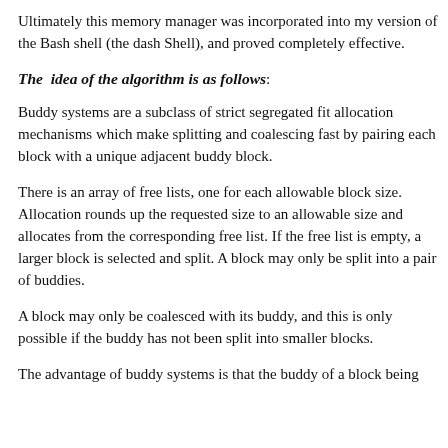Ultimately this memory manager was incorporated into my version of the Bash shell (the dash Shell), and proved completely effective.
The idea of the algorithm is as follows:
Buddy systems are a subclass of strict segregated fit allocation mechanisms which make splitting and coalescing fast by pairing each block with a unique adjacent buddy block.
There is an array of free lists, one for each allowable block size. Allocation rounds up the requested size to an allowable size and allocates from the corresponding free list. If the free list is empty, a larger block is selected and split. A block may only be split into a pair of buddies.
A block may only be coalesced with its buddy, and this is only possible if the buddy has not been split into smaller blocks.
The advantage of buddy systems is that the buddy of a block being